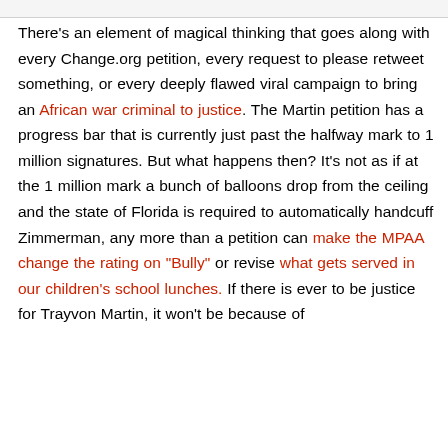There's an element of magical thinking that goes along with every Change.org petition, every request to please retweet something, or every deeply flawed viral campaign to bring an African war criminal to justice. The Martin petition has a progress bar that is currently just past the halfway mark to 1 million signatures. But what happens then? It's not as if at the 1 million mark a bunch of balloons drop from the ceiling and the state of Florida is required to automatically handcuff Zimmerman, any more than a petition can make the MPAA change the rating on "Bully" or revise what gets served in our children's school lunches. If there is ever to be justice for Trayvon Martin, it won't be because of